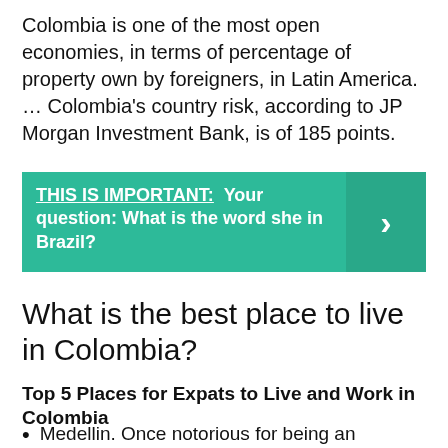Colombia is one of the most open economies, in terms of percentage of property own by foreigners, in Latin America. … Colombia's country risk, according to JP Morgan Investment Bank, is of 185 points.
THIS IS IMPORTANT:  Your question: What is the word she in Brazil?
What is the best place to live in Colombia?
Top 5 Places for Expats to Live and Work in Colombia
Medellin. Once notorious for being an